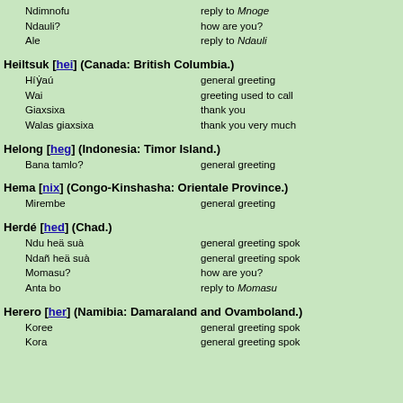Ndimnofu — reply to Mnoge
Ndauli? — how are you?
Ale — reply to Ndauli
Heiltsuk [hei] (Canada: British Columbia.)
Híẏaú — general greeting
Wai — greeting used to call
Giaxsixa — thank you
Walas giaxsixa — thank you very much
Helong [heg] (Indonesia: Timor Island.)
Bana tamlo? — general greeting
Hema [nix] (Congo-Kinshasha: Orientale Province.)
Mirembe — general greeting
Herdé [hed] (Chad.)
Ndu heä suà — general greeting spok
Ndañ heä suà — general greeting spok
Momasu? — how are you?
Anta bo — reply to Momasu
Herero [her] (Namibia: Damaraland and Ovamboland.)
Koree — general greeting spok
Kora — general greeting spok